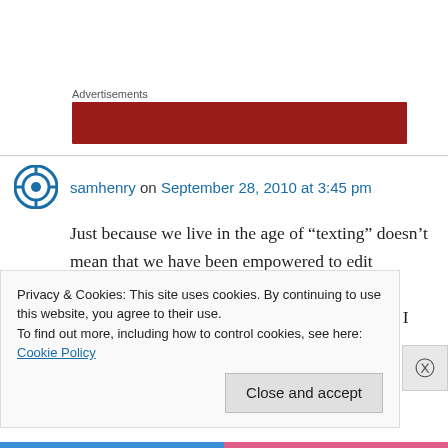Advertisements
[Figure (other): Red advertisement banner placeholder]
samhenry on September 28, 2010 at 3:45 pm
Just because we live in the age of “texting” doesn’t mean that we have been empowered to edit Dickens. These are the worst of times made memorable by a lack of reading and education. I
Privacy & Cookies: This site uses cookies. By continuing to use this website, you agree to their use.
To find out more, including how to control cookies, see here: Cookie Policy
Close and accept